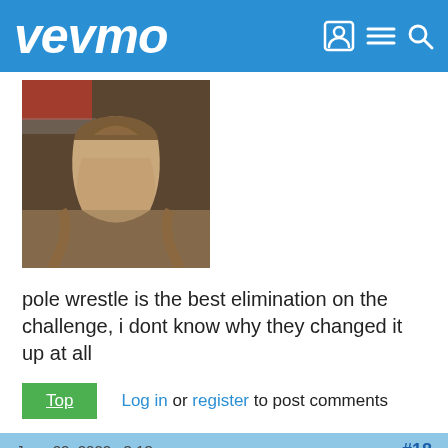vevmo
[Figure (photo): Profile photo of a person wearing sunglasses and a tan hoodie/jacket]
pole wrestle is the best elimination on the challenge, i dont know why they changed it up at all
Top   Log in or register to post comments
June 22, 2022 · 3:13am   #18
lavendarveto
[Figure (photo): Profile photo of a person with blonde hair and tattoos, illustrated/artistic style]